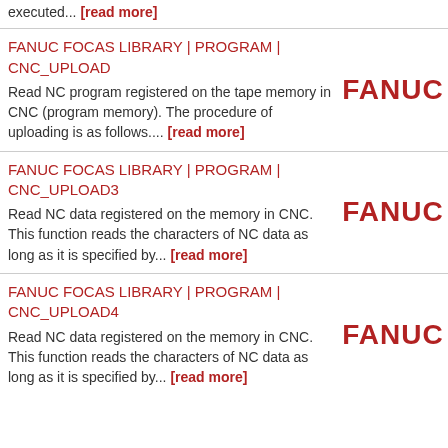executed... [read more]
FANUC FOCAS LIBRARY | PROGRAM | CNC_UPLOAD
Read NC program registered on the tape memory in CNC (program memory). The procedure of uploading is as follows.... [read more]
[Figure (logo): FANUC logo in bold red text]
FANUC FOCAS LIBRARY | PROGRAM | CNC_UPLOAD3
Read NC data registered on the memory in CNC. This function reads the characters of NC data as long as it is specified by... [read more]
[Figure (logo): FANUC logo in bold red text]
FANUC FOCAS LIBRARY | PROGRAM | CNC_UPLOAD4
Read NC data registered on the memory in CNC. This function reads the characters of NC data as long as it is specified by... [read more]
[Figure (logo): FANUC logo in bold red text]